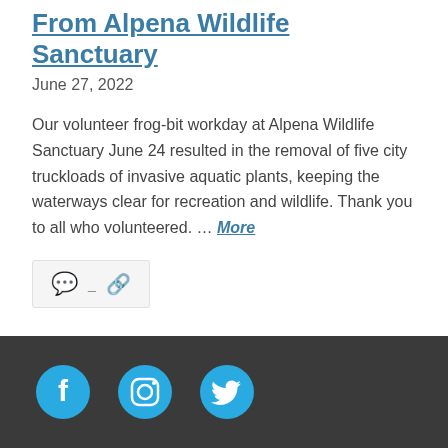From Alpena Wildlife Sanctuary
June 27, 2022
Our volunteer frog-bit workday at Alpena Wildlife Sanctuary June 24 resulted in the removal of five city truckloads of invasive aquatic plants, keeping the waterways clear for recreation and wildlife. Thank you to all who volunteered. ... More
[Figure (other): Comment and link icon meta bar showing a speech bubble icon, a dash, and a chain link icon on a light grey background]
Social media icons: Facebook, Instagram, Twitter on dark grey footer bar